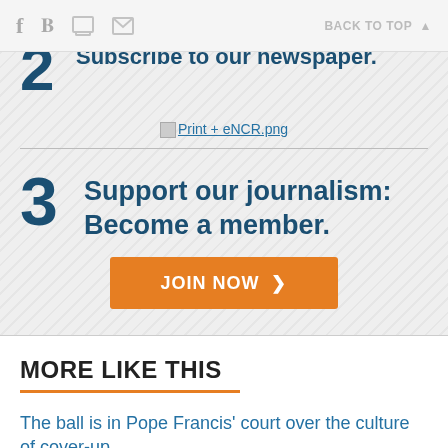BACK TO TOP
Subscribe to our newspaper.
[Figure (other): Print + eNCR.png image placeholder link]
3 Support our journalism: Become a member.
JOIN NOW
MORE LIKE THIS
The ball is in Pope Francis' court over the culture of cover-up